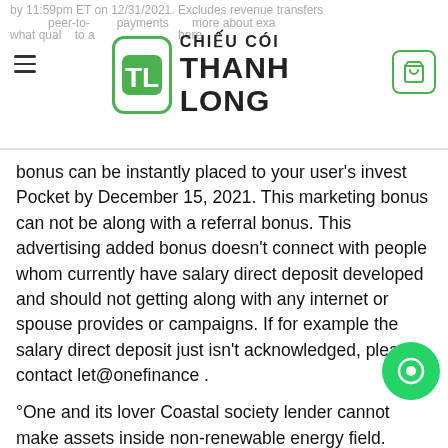CHIẾU CÓI THANH LONG
bonus can be instantly placed to your user's invest Pocket by December 15, 2021. This marketing bonus can not be along with a referral bonus. This advertising added bonus doesn't connect with people whom currently have salary direct deposit developed and should not getting along with any internet or spouse provides or campaigns. If for example the salary direct deposit just isn't acknowledged, please contact let@onefinance .
°One and its lover Coastal society lender cannot make assets inside non-renewable energy field.
FDIC nationwide medium interest monitoring rate 05/17/21
The only cards are granted by seaside area Bank